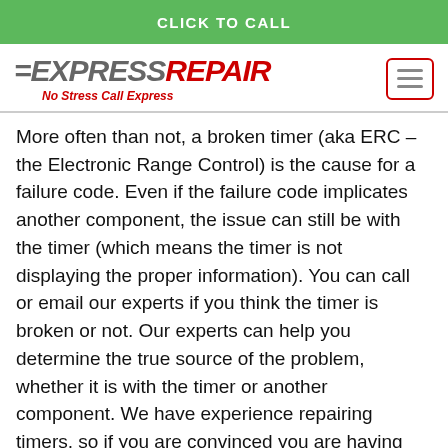CLICK TO CALL
[Figure (logo): Express Repair logo with text '=EXPRESSREPAIR' and tagline 'No Stress Call Express', plus hamburger menu button]
More often than not, a broken timer (aka ERC – the Electronic Range Control) is the cause for a failure code. Even if the failure code implicates another component, the issue can still be with the timer (which means the timer is not displaying the proper information). You can call or email our experts if you think the timer is broken or not. Our experts can help you determine the true source of the problem, whether it is with the timer or another component. We have experience repairing timers, so if you are convinced you are having problems with your timer, we invite you to submit an appliance repair service request or call us (519) 914-1159.